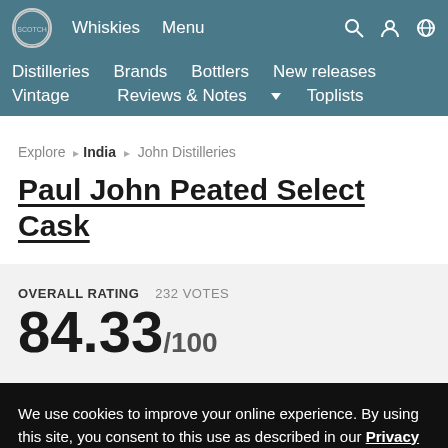Whiskies  Menu  Distilleries  Brands  Bottlers  New releases  Vintage  Reviews & Notes  Toplists
Explore > India > John Distilleries
Paul John Peated Select Cask
OVERALL RATING  232 VOTES
84.33/100
We use cookies to improve your online experience. By using this site, you consent to this use as described in our Privacy Policy.
OK